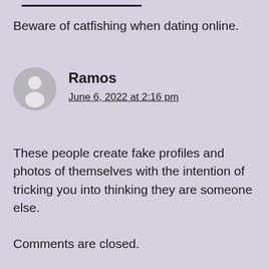Beware of catfishing when dating online.
Ramos
June 6, 2022 at 2:16 pm
These people create fake profiles and photos of themselves with the intention of tricking you into thinking they are someone else.
Comments are closed.